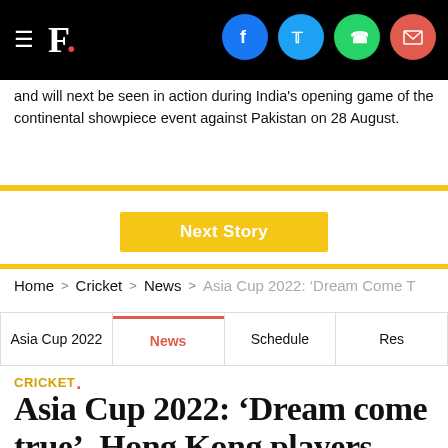F. [Firstpost logo with social share icons: Facebook, Twitter, WhatsApp, Email]
and will next be seen in action during India's opening game of the continental showpiece event against Pakistan on 28 August.
Next Story
Home > Cricket > News > Asia Cup 2022: 'Dream Come T
Asia Cup 2022 | News | Schedule | Res
CRICKET.
Asia Cup 2022: ‘Dream come true’, Hong Kong players overwhelmed by Indian dressing room visit